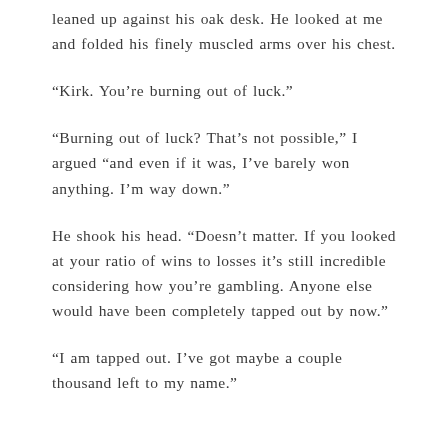leaned up against his oak desk. He looked at me and folded his finely muscled arms over his chest.
“Kirk. You’re burning out of luck.”
“Burning out of luck? That’s not possible,” I argued “and even if it was, I’ve barely won anything. I’m way down.”
He shook his head. “Doesn’t matter. If you looked at your ratio of wins to losses it’s still incredible considering how you’re gambling. Anyone else would have been completely tapped out by now.”
“I am tapped out. I’ve got maybe a couple thousand left to my name.”